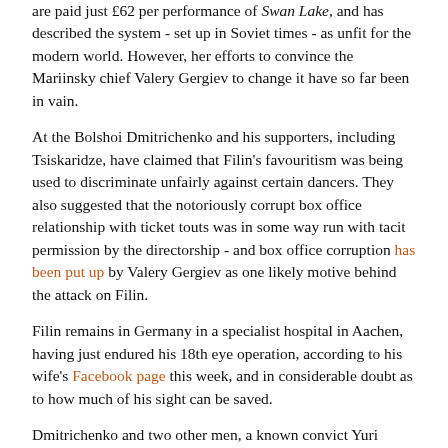are paid just £62 per performance of Swan Lake, and has described the system - set up in Soviet times - as unfit for the modern world. However, her efforts to convince the Mariinsky chief Valery Gergiev to change it have so far been in vain.
At the Bolshoi Dmitrichenko and his supporters, including Tsiskaridze, have claimed that Filin's favouritism was being used to discriminate unfairly against certain dancers. They also suggested that the notoriously corrupt box office relationship with ticket touts was in some way run with tacit permission by the directorship - and box office corruption has been put up by Valery Gergiev as one likely motive behind the attack on Filin.
Filin remains in Germany in a specialist hospital in Aachen, having just endured his 18th eye operation, according to his wife's Facebook page this week, and in considerable doubt as to how much of his sight can be saved.
Dmitrichenko and two other men, a known convict Yuri Zarutsky who is alleged to have confessed to throwing the sulphuric acid in Filin's face, and an alleged driver, Andrei Lipatov, face up to 12 years in jail if convicted of causing Filin grievous bodily harm. Currently in custody, they are attempting to have Filin's medical condition double-checked to back their contention that he is not in fact grievously injured, and therefore their charge should be reduced.
See full coverage and translation of Russian reports on the saga on